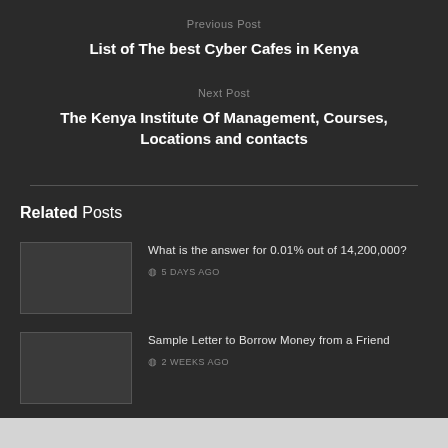Previous Post
List of The best Cyber Cafes in Kenya
Next Post
The Kenya Institute Of Management, Courses, Locations and contacts
Related Posts
What is the answer for 0.01% out of 14,200,000?
5 DAYS AGO
Sample Letter to Borrow Money from a Friend
2 WEEKS AGO